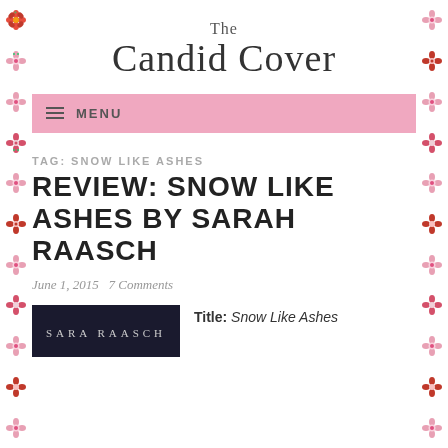The Candid Cover
MENU
TAG: SNOW LIKE ASHES
REVIEW: SNOW LIKE ASHES BY SARAH RAASCH
June 1, 2015   7 Comments
[Figure (photo): Book cover showing 'SARA RAASCH' text on dark background]
Title: Snow Like Ashes